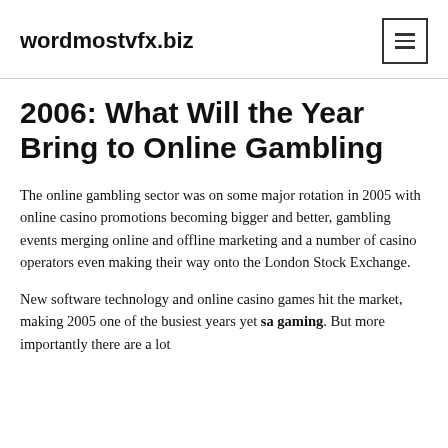wordmostvfx.biz
2006: What Will the Year Bring to Online Gambling
The online gambling sector was on some major rotation in 2005 with online casino promotions becoming bigger and better, gambling events merging online and offline marketing and a number of casino operators even making their way onto the London Stock Exchange.
New software technology and online casino games hit the market, making 2005 one of the busiest years yet sa gaming. But more importantly there are a lot